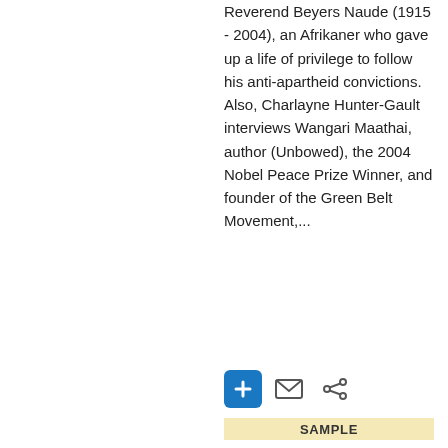Reverend Beyers Naude (1915 - 2004), an Afrikaner who gave up a life of privilege to follow his anti-apartheid convictions. Also, Charlayne Hunter-Gault interviews Wangari Maathai, author (Unbowed), the 2004 Nobel Peace Prize Winner, and founder of the Green Belt Movement,...
[Figure (infographic): Three icon buttons: a blue square with a plus sign, an envelope icon, and a share icon]
SAMPLE